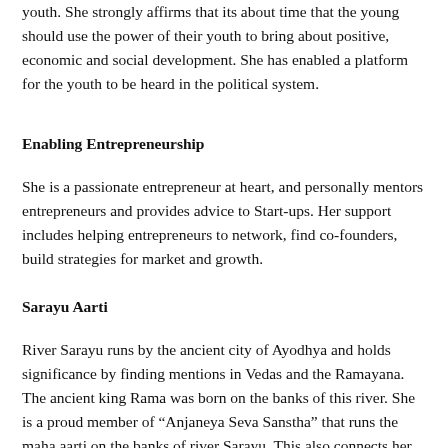youth. She strongly affirms that its about time that the young should use the power of their youth to bring about positive, economic and social development. She has enabled a platform for the youth to be heard in the political system.
Enabling Entrepreneurship
She is a passionate entrepreneur at heart, and personally mentors entrepreneurs and provides advice to Start-ups. Her support includes helping entrepreneurs to network, find co-founders, build strategies for market and growth.
Sarayu Aarti
River Sarayu runs by the ancient city of Ayodhya and holds significance by finding mentions in Vedas and the Ramayana. The ancient king Rama was born on the banks of this river. She is a proud member of “Anjaneya Seva Sanstha” that runs the maha aarti on the banks of river Sarayu. This also connects her with the motherland.